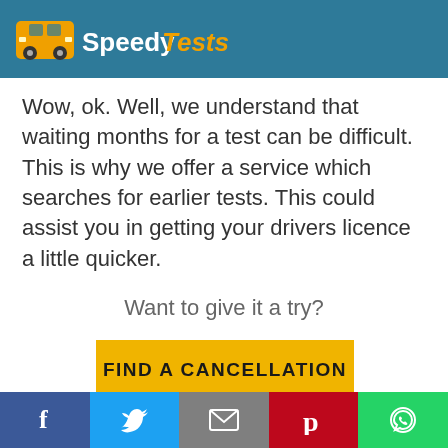SpeedyTests
Wow, ok. Well, we understand that waiting months for a test can be difficult. This is why we offer a service which searches for earlier tests. This could assist you in getting your drivers licence a little quicker.
Want to give it a try?
[Figure (other): Yellow call-to-action button with text FIND A CANCELLATION]
Social share bar: Facebook, Twitter, Email, Pinterest, WhatsApp